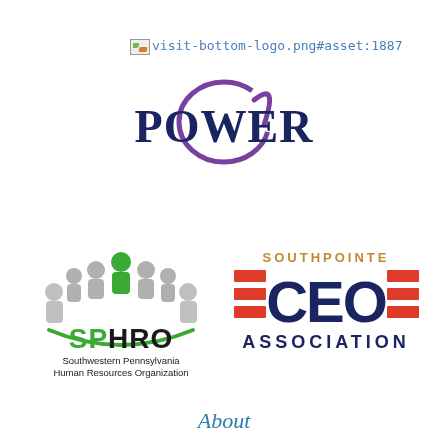[Figure (other): Broken image reference: visit-bottom-logo.png#asset:1887]
[Figure (logo): POWER organization logo with purple circular swoosh and dark navy serif text]
[Figure (logo): SPHRO - Southwestern Pennsylvania Human Resources Organization logo with people icons and green arc]
[Figure (logo): Southpointe CEO Association logo with red horizontal bars flanking dark navy CEO text and gold SOUTHPOINTE text]
About